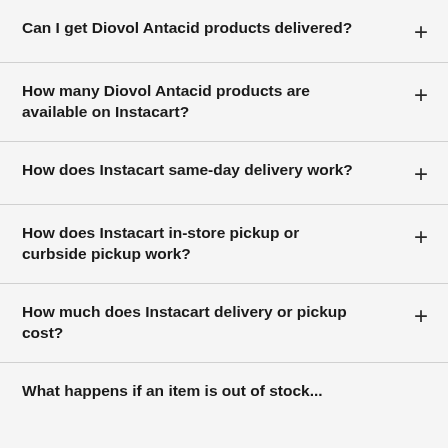Can I get Diovol Antacid products delivered?
How many Diovol Antacid products are available on Instacart?
How does Instacart same-day delivery work?
How does Instacart in-store pickup or curbside pickup work?
How much does Instacart delivery or pickup cost?
What happens if an item is out of stock...